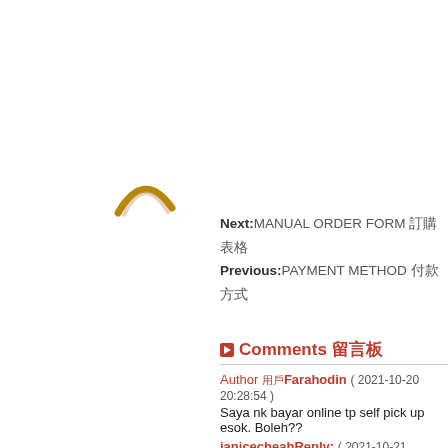[Figure (logo): Partial arc/logo image in brown/tan color]
Next:MANUAL ORDER FORM 訂購表格
Previous:PAYMENT METHOD 付款方式
Comments 留言板
Author 用戶Farahodin  ( 2021-10-20 20:28:54 )
Saya nk bayar online tp self pick up esok. Boleh??
janicecheahReply:  ( 2021-10-21 08:50:33 )
you may need to submit order, after payment sms o
Author 用戶Farahodin  ( 2021-10-20 20:27:06 )
Saya nk order online tapi nak self pick up esok. Bo
janicecheahReply:  ( 2021-10-21 08:50:22 )
you may need to submit order, after payment sms o
Author 用戶Nur9552  ( 2021-10-02 11:38:25 )